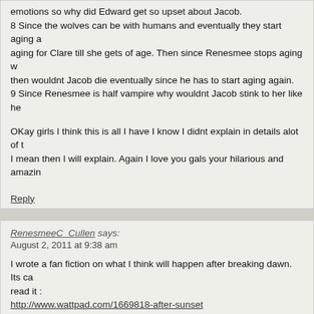emotions so why did Edward get so upset about Jacob.
8 Since the wolves can be with humans and eventually they start aging a aging for Clare till she gets of age. Then since Renesmee stops aging w then wouldnt Jacob die eventually since he has to start aging again.
9 Since Renesmee is half vampire why wouldnt Jacob stink to her like he
OKay girls I think this is all I have I know I didnt explain in details alot of t I mean then I will explain. Again I love you gals your hilarious and amazin
Reply
RenesmeeC_Cullen says:
August 2, 2011 at 9:38 am
I wrote a fan fiction on what I think will happen after breaking dawn. Its ca read it :
http://www.wattpad.com/1669818-after-sunset
Reply
Jeremy Brewer says:
August 14, 2011 at 1:51 pm
I think the actor who played Edward is very awkward. Especially for bitin